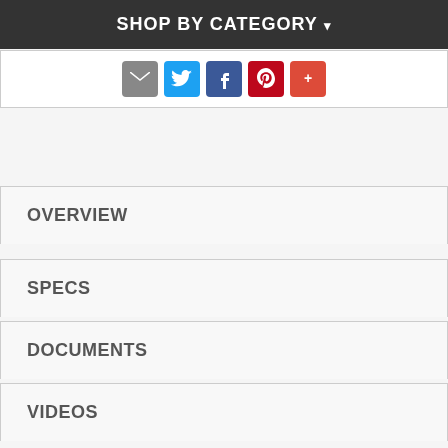SHOP BY CATEGORY ▾
[Figure (screenshot): Social sharing icon buttons: email (grey), Twitter (blue), Facebook (blue), Pinterest (red), Google+ (red/plus)]
OVERVIEW
SPECS
DOCUMENTS
VIDEOS
DELIVERY
WARRANTY